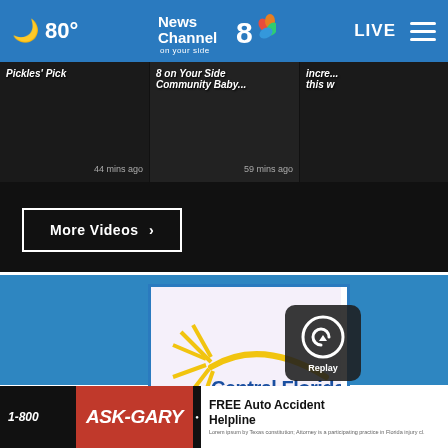80° News Channel 8 on your side LIVE
Pickles' Pick  44 mins ago
8 on Your Side Community Baby...  59 mins ago
incre... this w
More Videos ›
[Figure (screenshot): Central Florida Behavioral Health Network Inc. logo with replay overlay button and close X button]
[Figure (advertisement): 1-800 ASK-GARY advertisement banner with FREE Auto Accident Helpline text]